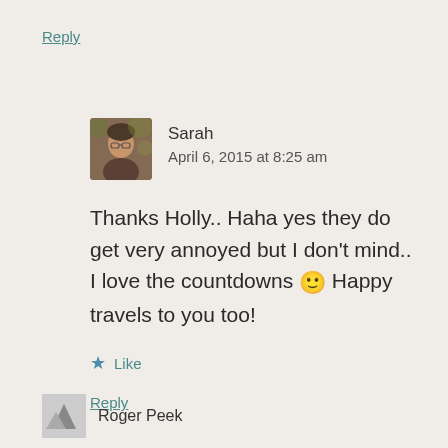Reply
[Figure (photo): Small avatar photo of Sarah, a person with glasses outdoors with autumn foliage background]
Sarah
April 6, 2015 at 8:25 am
Thanks Holly.. Haha yes they do get very annoyed but I don't mind.. I love the countdowns 🙂 Happy travels to you too!
★ Like
Reply
[Figure (photo): Small avatar icon for Roger Peek commenter]
Roger Peek